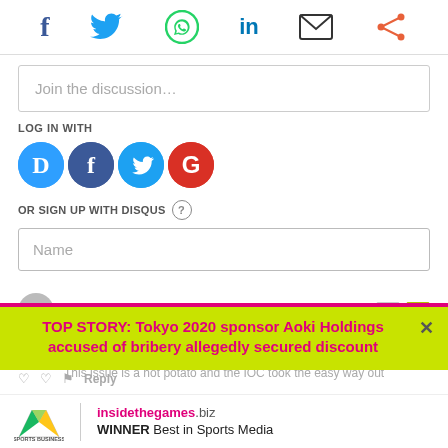[Figure (other): Social sharing bar with icons: Facebook (f), Twitter (bird), WhatsApp, LinkedIn (in), Email (envelope), Share (nodes) icons]
Join the discussion…
LOG IN WITH
[Figure (other): Login icons: Disqus (D), Facebook (f), Twitter (bird), Google (G) colored circles]
OR SIGN UP WITH DISQUS ?
Name
Jack
2 minutes ago
Navigating Tokyo... [partially obscured]
This issue is a hot potato and the IOC took the easy way out [partially obscured]
TOP STORY: Tokyo 2020 sponsor Aoki Holdings accused of bribery allegedly secured discount
[Figure (logo): Sports Business Awards 2017 logo with multicolor arrow N shape]
insidethegames.biz WINNER Best in Sports Media
Reply